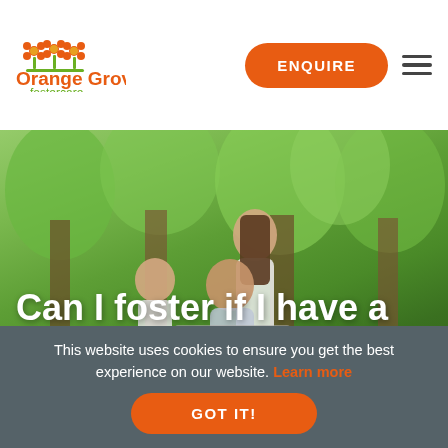[Figure (logo): Orange Grove Fostercare logo with orange flower icons and orange/green text]
ENQUIRE
[Figure (photo): A family scene in a park: a woman pushing a man in a wheelchair, with a young curly-haired child beside them, surrounded by green trees]
Can I foster if I have a disability?
This website uses cookies to ensure you get the best experience on our website. Learn more
GOT IT!